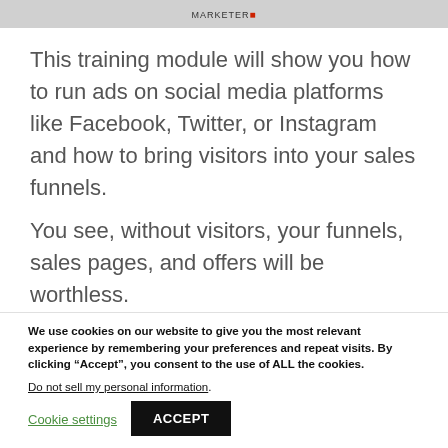MARKETER
This training module will show you how to run ads on social media platforms like Facebook, Twitter, or Instagram and how to bring visitors into your sales funnels.
You see, without visitors, your funnels, sales pages, and offers will be worthless.
We use cookies on our website to give you the most relevant experience by remembering your preferences and repeat visits. By clicking “Accept”, you consent to the use of ALL the cookies.
Do not sell my personal information.
Cookie settings   ACCEPT